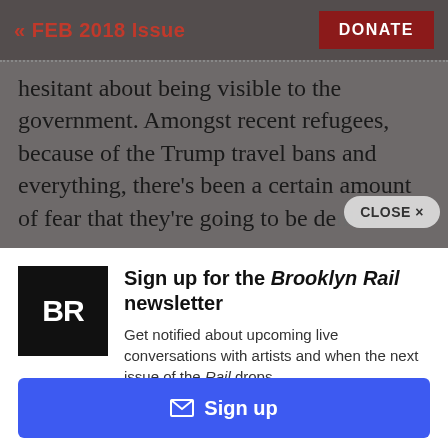« FEB 2018 Issue | DONATE
hesitant about being visible to the government. Amongst recent refugees, because of the Trump travel bans and everything, there's been a certain amount of fear that they're going to be denied
CLOSE ×
Sign up for the Brooklyn Rail newsletter
Get notified about upcoming live conversations with artists and when the next issue of the Rail drops.
Sign up